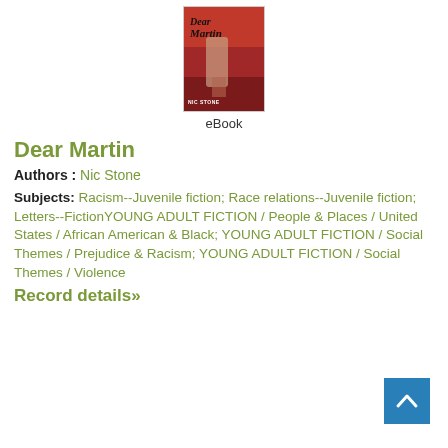[Figure (illustration): Book cover of 'Dear Martin' by Nic Stone — red illustrated cover with silhouette figure]
eBook
Dear Martin
Authors : Nic Stone
Subjects: Racism--Juvenile fiction; Race relations--Juvenile fiction; Letters--FictionYOUNG ADULT FICTION / People & Places / United States / African American & Black; YOUNG ADULT FICTION / Social Themes / Prejudice & Racism; YOUNG ADULT FICTION / Social Themes / Violence
Record details»